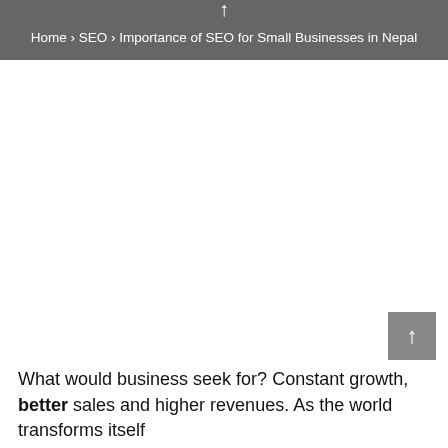Home › SEO › Importance of SEO for Small Businesses in Nepal
What would business seek for? Constant growth, better sales and higher revenues. As the world transforms itself